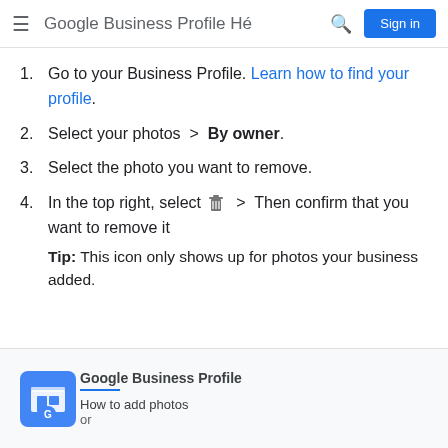Google Business Profile H…  Sign in
1. Go to your Business Profile. Learn how to find your profile.
2. Select your photos > By owner.
3. Select the photo you want to remove.
4. In the top right, select [trash icon] > Then confirm that you want to remove it  Tip: This icon only shows up for photos your business added.
[Figure (screenshot): Google Business Profile card with logo showing a storefront with a G icon, title 'Google Business Profile', blue underline, and subtitle text 'How to add photos or']